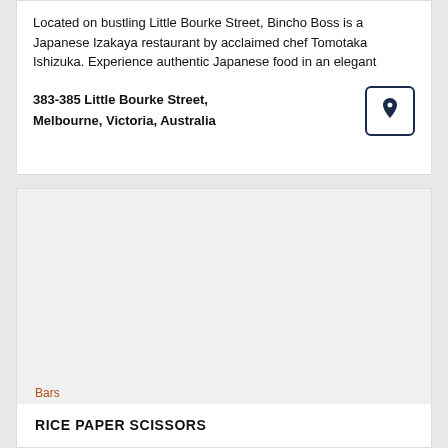Located on bustling Little Bourke Street, Bincho Boss is a Japanese Izakaya restaurant by acclaimed chef Tomotaka Ishizuka. Experience authentic Japanese food in an elegant
383-385 Little Bourke Street, Melbourne, Victoria, Australia
[Figure (photo): Large image area placeholder for restaurant or venue photo, light gray background]
Bars
RICE PAPER SCISSORS